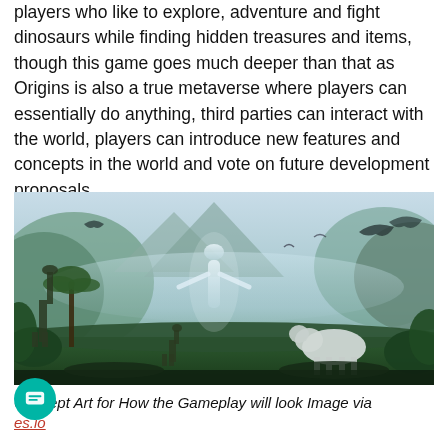players who like to explore, adventure and fight dinosaurs while finding hidden treasures and items,  though this game goes much deeper than that as Origins is also a true metaverse where players can essentially do anything, third parties can interact with the world, players can introduce new features and concepts in the world and vote on future development proposals.
[Figure (illustration): Concept art showing a prehistoric/fantasy landscape with dinosaurs, flying pterosaurs, a glowing ethereal humanoid figure, a white wolf-like creature, palm trees, and misty mountains in the background.]
Concept Art for How the Gameplay will look Image via es.io